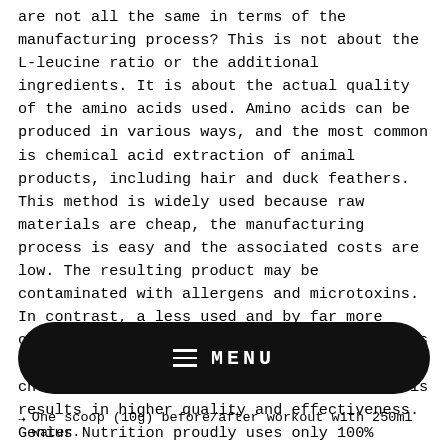are not all the same in terms of the manufacturing process? This is not about the L-leucine ratio or the additional ingredients. It is about the actual quality of the amino acids used. Amino acids can be produced in various ways, and the most common is chemical acid extraction of animal products, including hair and duck feathers. This method is widely used because raw materials are cheap, the manufacturing process is easy and the associated costs are low. The resulting product may be contaminated with allergens and microtoxins. In contrast, a less used and by far more costly method of production of amino acids is natural fermentation. No concentrated chemical agents are used in the process. This results in higher quality and effectiveness. Genius Nutrition proudly uses only 100% fermented BCAAs to offer the best quality amin acids
[Figure (other): Black rounded rectangle menu bar with hamburger icon and MENU text in white on dark background]
One scoop (10g) before/after workout with 250ml water.